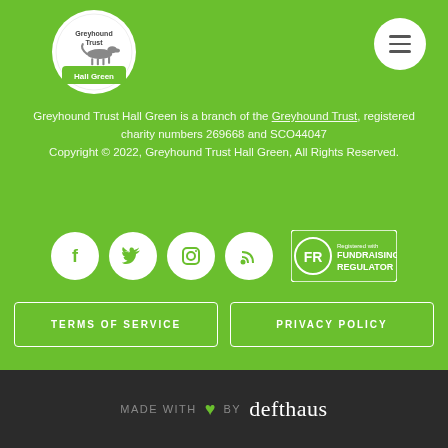[Figure (logo): Greyhound Trust Hall Green circular logo with greyhound silhouette]
[Figure (other): White hamburger menu button (three horizontal lines) in white circle]
Greyhound Trust Hall Green is a branch of the Greyhound Trust, registered charity numbers 269668 and SCO44047 Copyright © 2022, Greyhound Trust Hall Green, All Rights Reserved.
[Figure (other): Social media icons row: Facebook, Twitter, Instagram, RSS feed (white circles on green), and Fundraising Regulator badge]
TERMS OF SERVICE
PRIVACY POLICY
MADE WITH ♥ BY defthaus